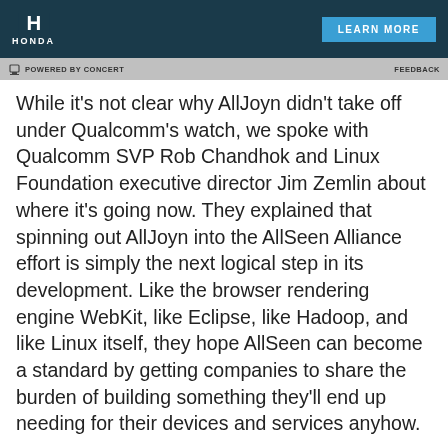[Figure (other): Honda advertisement banner with dark teal background, Honda logo on left (H emblem above HONDA text), and LEARN MORE button on right]
POWERED BY CONCERT   FEEDBACK
While it's not clear why AllJoyn didn't take off under Qualcomm's watch, we spoke with Qualcomm SVP Rob Chandhok and Linux Foundation executive director Jim Zemlin about where it's going now. They explained that spinning out AllJoyn into the AllSeen Alliance effort is simply the next logical step in its development. Like the browser rendering engine WebKit, like Eclipse, like Hadoop, and like Linux itself, they hope AllSeen can become a standard by getting companies to share the burden of building something they'll end up needing for their devices and services anyhow.